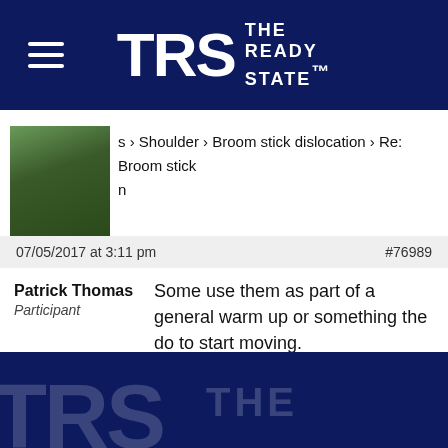TRS THE READY STATE
› Shoulder › Broom stick dislocation › Re: Broom stick
07/05/2017 at 3:11 pm   #76989
Patrick Thomas
Participant
Some use them as part of a general warm up or something the do to start moving.
What are you looking to accomplish or impact by doing them?